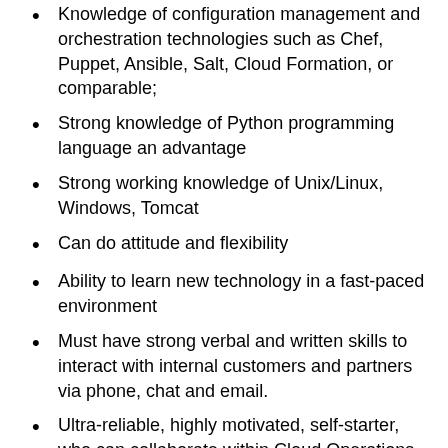Knowledge of configuration management and orchestration technologies such as Chef, Puppet, Ansible, Salt, Cloud Formation, or comparable;
Strong knowledge of Python programming language an advantage
Strong working knowledge of Unix/Linux, Windows, Tomcat
Can do attitude and flexibility
Ability to learn new technology in a fast-paced environment
Must have strong verbal and written skills to interact with internal customers and partners via phone, chat and email.
Ultra-reliable, highly motivated, self-starter, who can collaborate within Cloud Operations and across other functional groups.
Knowledge of PowerSchool or the education